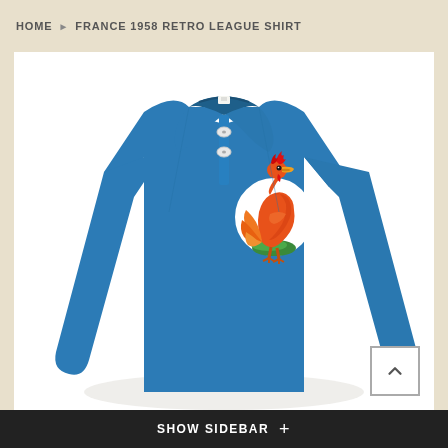HOME > FRANCE 1958 RETRO LEAGUE SHIRT
[Figure (photo): A blue long-sleeve retro football shirt (France 1958) with a pointed collar, two white buttons at the neck, and an embroidered rooster badge (Gallic cockerel in red, orange, and gold on a white oval with green base) on the left chest. The shirt is photographed against a white background.]
SHOW SIDEBAR +